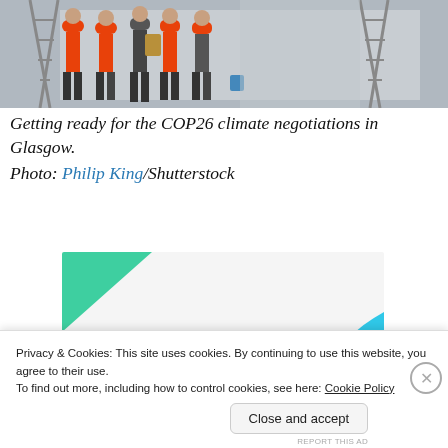[Figure (photo): Workers in orange high-visibility vests and hard hats preparing for the COP26 climate negotiations in Glasgow, with ladders in background]
Getting ready for the COP26 climate negotiations in Glasgow.
Photo: Philip King/Shutterstock
[Figure (infographic): Advertisement: How to start selling subscriptions online, with green triangle and blue arc decorative shapes and a purple button]
Privacy & Cookies: This site uses cookies. By continuing to use this website, you agree to their use.
To find out more, including how to control cookies, see here: Cookie Policy
Close and accept